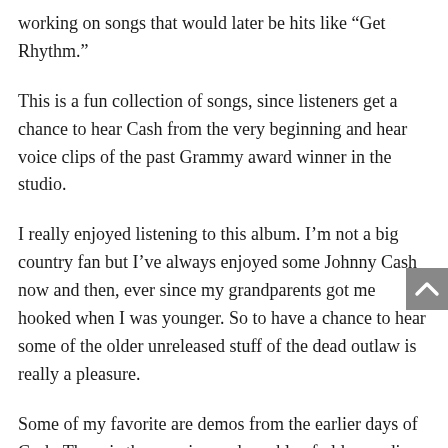working on songs that would later be hits like “Get Rhythm.”
This is a fun collection of songs, since listeners get a chance to hear Cash from the very beginning and hear voice clips of the past Grammy award winner in the studio.
I really enjoyed listening to this album. I’m not a big country fan but I’ve always enjoyed some Johnny Cash now and then, ever since my grandparents got me hooked when I was younger. So to have a chance to hear some of the older unreleased stuff of the dead outlaw is really a pleasure.
Some of my favorite are demos from the earlier days of Cash. There is the popping and crackle of old recordings from the 50’s. Some might think this isn’t of the quality of most CDs that are out today, but I’m